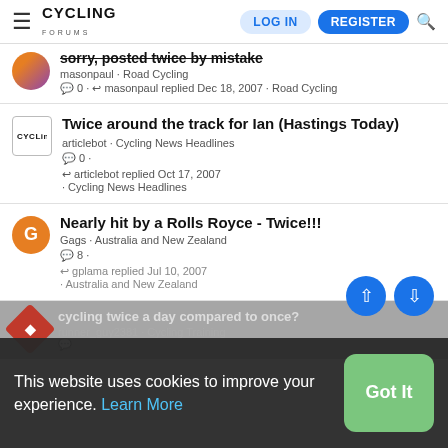Cycling Forums | LOG IN | REGISTER
sorry, posted twice by mistake
masonpaul · Road Cycling
💬 0 · ↩ masonpaul replied Dec 18, 2007 · Road Cycling
Twice around the track for Ian (Hastings Today)
articlebot · Cycling News Headlines
💬 0 ·
↩ articlelebot replied Oct 17, 2007 · Cycling News Headlines
Nearly hit by a Rolls Royce - Twice!!!
Gags · Australia and New Zealand
💬 8 ·
↩ gplama replied Jul 10, 2007 · Australia and New Zealand
cycling twice a day compared to once?
runner_guy2381 · Cycling Training
💬 6 ·
This website uses cookies to improve your experience. Learn More
Got It